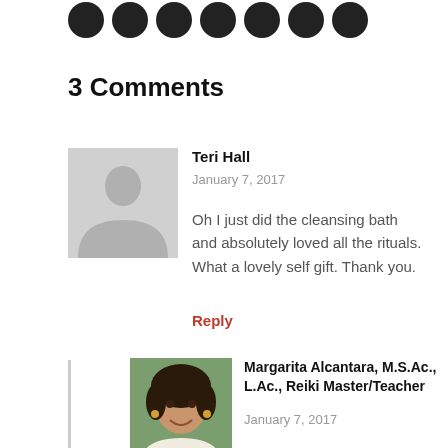[Figure (other): Row of social media icon buttons (circular, dark) at top of page]
3 Comments
[Figure (photo): Gray silhouette placeholder avatar for Teri Hall]
Teri Hall
January 7, 2017
Oh I just did the cleansing bath and absolutely loved all the rituals. What a lovely self gift. Thank you.
Reply
[Figure (photo): Photo of Margarita Alcantara, a woman with dark curly hair outdoors]
Margarita Alcantara, M.S.Ac., L.Ac., Reiki Master/Teacher
January 7, 2017